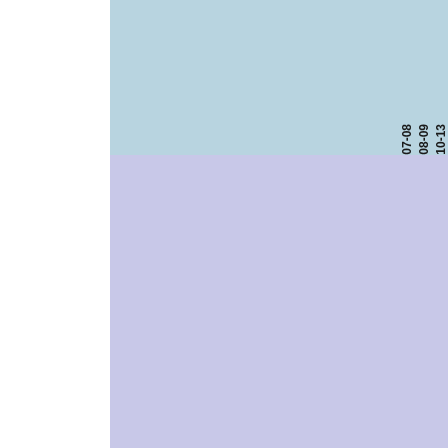| part # | enhanced description | 07-08 A55 Sprint | 08-09 A55 Sprint | 10-13 A55 Sprint |
| --- | --- | --- | --- | --- |
|  |  | A3 |
|  |  | A35 |
|  |  | A35 |
| A35 |  |  |
| A55 |  |  |